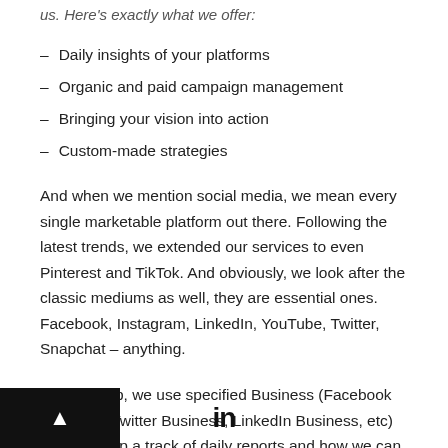us. Here's exactly what we offer:
– Daily insights of your platforms
– Organic and paid campaign management
– Bringing your vision into action
– Custom-made strategies
And when we mention social media, we mean every single marketable platform out there. Following the latest trends, we extended our services to even Pinterest and TikTok. And obviously, we look after the classic mediums as well, they are essential ones. Facebook, Instagram, LinkedIn, YouTube, Twitter, Snapchat – anything.
To sum it up, we use specified Business (Facebook Business, Twitter Business, LinkedIn Business, etc) tools to keep a track of daily reports and how we can further improve our strategy.
[Figure (logo): LinkedIn logo 'in' icon at bottom center of page]
[Figure (other): Black footer bar on bottom left with white upward arrow triangle]